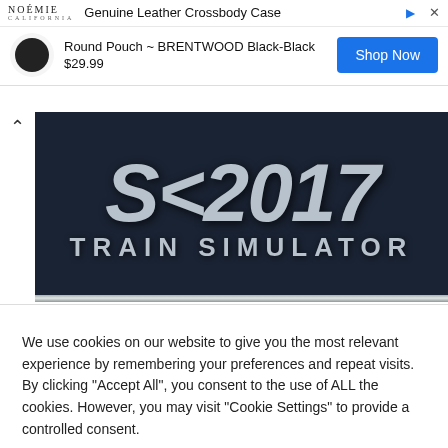[Figure (screenshot): Advertisement banner for NOEMIE Genuine Leather Crossbody Case - Round Pouch BRENTWOOD Black-Black, priced at $29.99 with a Shop Now button]
[Figure (screenshot): Train Simulator game cover image showing large metallic numbers and 'TRAIN SIMULATOR' text on dark background]
We use cookies on our website to give you the most relevant experience by remembering your preferences and repeat visits. By clicking "Accept All", you consent to the use of ALL the cookies. However, you may visit "Cookie Settings" to provide a controlled consent.
Cookie Settings
Accept All